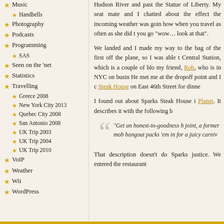Music
Handbells
Photography
Podcasts
Programming
SAS
Seen on the 'net
Statistics
Travelling
Greece 2008
New York City 2013
Quebec City 2008
San Antonio 2008
UK Trip 2003
UK Trip 2004
UK Trip 2010
VoIP
Weather
Wii
WordPress
Hudson River and past the Statue of Liberty. My seat mate and I chatted about the effect the incoming weather was going and how when you travel as often as she did that you go “wow… look at that”.
We landed and I made my way to the bag... of the first off the plane, so I was able to Central Station, which is a couple of blo... my friend, Rob, who is in NYC on busin... He met me at the dropoff point and I c... Steak House on East 46th Street for dinne...
I found out about Sparks Steak House i... Planet. It describes it with the following b...
“Get an honest-to-goodness ... joint, a former mob hangout... packs ’em in for a juicy carniv...
That description doesn’t do Sparks justice. We entered the restaurant